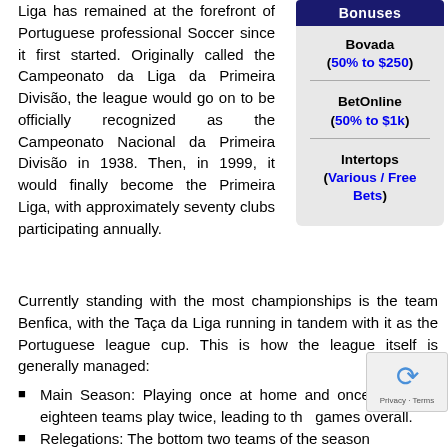Liga has remained at the forefront of Portuguese professional Soccer since it first started. Originally called the Campeonato da Liga da Primeira Divisão, the league would go on to be officially recognized as the Campeonato Nacional da Primeira Divisão in 1938. Then, in 1999, it would finally become the Primeira Liga, with approximately seventy clubs participating annually.
Bonuses
Bovada (50% to $250)
BetOnline (50% to $1k)
Intertops (Various / Free Bets)
Currently standing with the most championships is the team Benfica, with the Taça da Liga running in tandem with it as the Portuguese league cup. This is how the league itself is generally managed:
Main Season: Playing once at home and once away, all eighteen teams play twice, leading to th games overall.
Relegations: The bottom two teams of the season